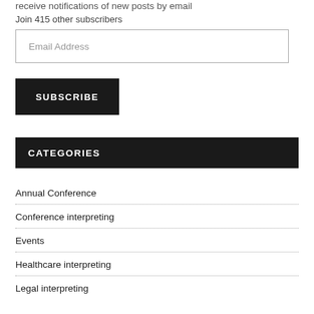receive notifications of new posts by email
Join 415 other subscribers
Email Address
SUBSCRIBE
CATEGORIES
Annual Conference
Conference interpreting
Events
Healthcare interpreting
Legal interpreting